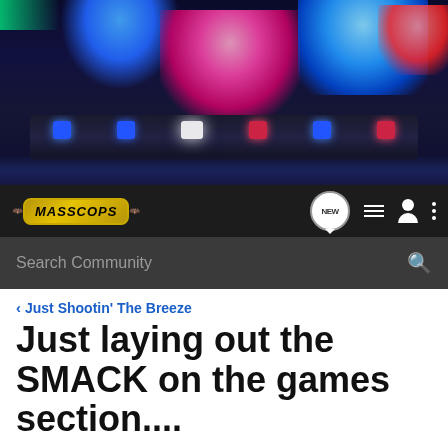[Figure (photo): Police car with flashing blue, red, and pink lights against a dark night background — hero banner image for MassCops forum]
MASSCOPS — NEW | menu | profile | more options | Search Community
< Just Shootin' The Breeze
Just laying out the SMACK on the games section....
→ Jump to Latest   ⊕ Follow
Not open for further replies.